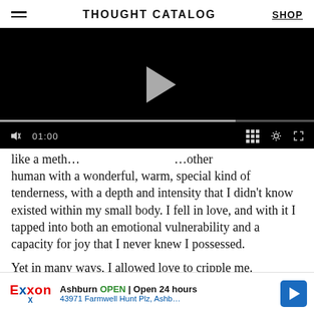THOUGHT CATALOG | SHOP
[Figure (screenshot): Embedded video player with black background, play button, progress bar, and controls showing 01:00 timestamp]
like a meth... [other] human with a wonderful, warm, special kind of tenderness, with a depth and intensity that I didn't know existed within my small body. I fell in love, and with it I tapped into both an emotional vulnerability and a capacity for joy that I never knew I possessed.
Yet in many ways, I allowed love to cripple me.
Because about nine months into my beautiful, loving relationship... Trust was sha... in the
[Figure (screenshot): Advertisement banner: Exxon logo, Ashburn OPEN | Open 24 hours, 43971 Farmwell Hunt Plz, Ashb..., with blue arrow icon]